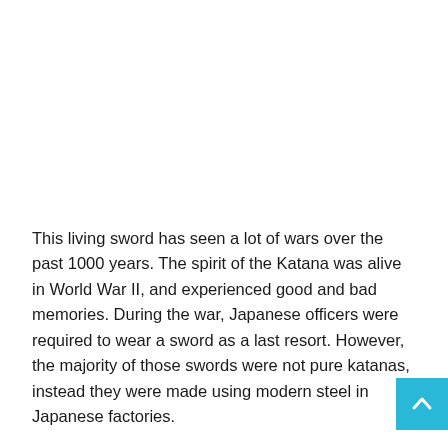This living sword has seen a lot of wars over the past 1000 years. The spirit of the Katana was alive in World War II, and experienced good and bad memories. During the war, Japanese officers were required to wear a sword as a last resort. However, the majority of those swords were not pure katanas, instead they were made using modern steel in Japanese factories.